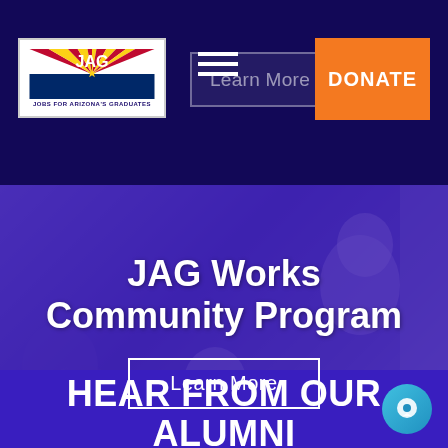[Figure (logo): JAG – Jobs for Arizona's Graduates logo with Arizona state flag colors]
Learn More
DONATE
[Figure (photo): Students gathered around a table in a professional setting, with a purple/blue overlay tint]
JAG Works Community Program
Learn More
HEAR FROM OUR ALUMNI